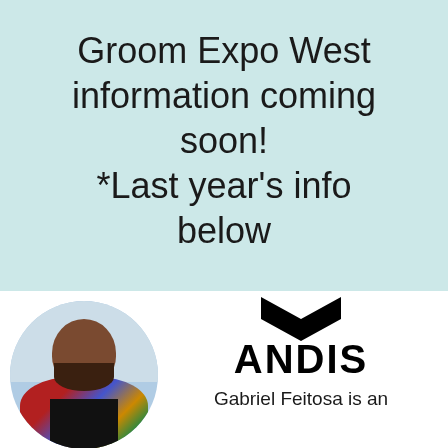Groom Expo West information coming soon!
*Last year's info below
[Figure (photo): Circular portrait photo of a bearded man wearing a colorful patterned jacket, partially visible on left side. Andis brand logo (chevron mark + ANDIS text) visible on right side.]
Gabriel Feitosa is an internationally-awarded dog groomer from Brazil. He started his grooming career at